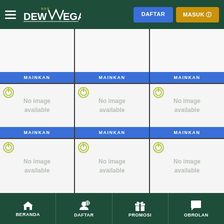DewaVegas — DAFTAR | MASUK
[Figure (screenshot): 3x3 grid of game cards each showing 'No image available' with a Playtech logo and a MAINKAN (Play) button]
BERANDA | DAFTAR | PROMOSI | OBROLAN